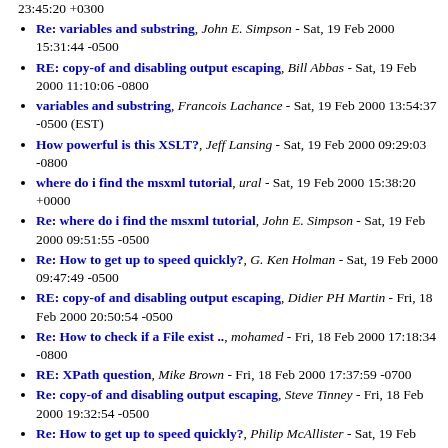23:45:20 +0300
Re: variables and substring, John E. Simpson - Sat, 19 Feb 2000 15:31:44 -0500
RE: copy-of and disabling output escaping, Bill Abbas - Sat, 19 Feb 2000 11:10:06 -0800
variables and substring, Francois Lachance - Sat, 19 Feb 2000 13:54:37 -0500 (EST)
How powerful is this XSLT?, Jeff Lansing - Sat, 19 Feb 2000 09:29:03 -0800
where do i find the msxml tutorial, ural - Sat, 19 Feb 2000 15:38:20 +0000
Re: where do i find the msxml tutorial, John E. Simpson - Sat, 19 Feb 2000 09:51:55 -0500
Re: How to get up to speed quickly?, G. Ken Holman - Sat, 19 Feb 2000 09:47:49 -0500
RE: copy-of and disabling output escaping, Didier PH Martin - Fri, 18 Feb 2000 20:50:54 -0500
Re: How to check if a File exist .., mohamed - Fri, 18 Feb 2000 17:18:34 -0800
RE: XPath question, Mike Brown - Fri, 18 Feb 2000 17:37:59 -0700
Re: copy-of and disabling output escaping, Steve Tinney - Fri, 18 Feb 2000 19:32:54 -0500
Re: How to get up to speed quickly?, Philip McAllister - Sat, 19 Feb 2000 00:11:50 -0000